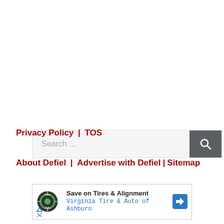[Figure (screenshot): Search bar with text 'Search ...' and a dark grey search button with magnifying glass icon]
Privacy Policy | TOS
About Defiel | Advertise with Defiel|Sitemap
[Figure (screenshot): Advertisement box: Save on Tires & Alignment, Virginia Tire & Auto of Ashburn, with tire logo and direction arrow icon]